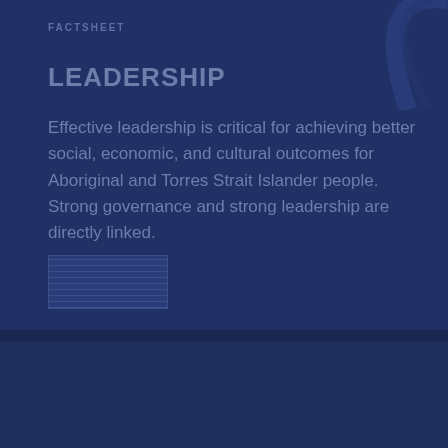FACTSHEET
LEADERSHIP
Effective leadership is critical for achieving better social, economic, and cultural outcomes for Aboriginal and Torres Strait Islander people. Strong governance and strong leadership are directly linked.
[Figure (photo): Small thumbnail image placeholder, partially visible document or photo preview]